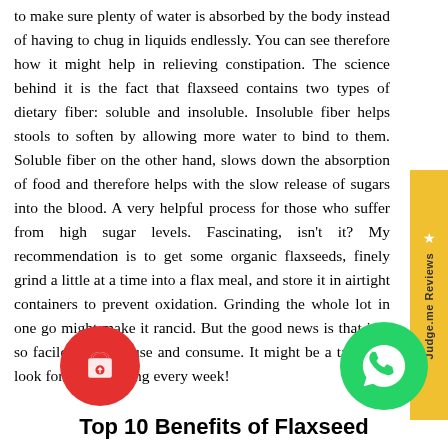to make sure plenty of water is absorbed by the body instead of having to chug in liquids endlessly. You can see therefore how it might help in relieving constipation. The science behind it is the fact that flaxseed contains two types of dietary fiber: soluble and insoluble. Insoluble fiber helps stools to soften by allowing more water to bind to them. Soluble fiber on the other hand, slows down the absorption of food and therefore helps with the slow release of sugars into the blood. A very helpful process for those who suffer from high sugar levels. Fascinating, isn't it? My recommendation is to get some organic flaxseeds, finely grind a little at a time into a flax meal, and store it in airtight containers to prevent oxidation. Grinding the whole lot in one go might make it rancid. But the good news is that it is so facile to make, use and consume. It might be a task you look forward to doing every week!
Top 10 Benefits of Flaxseed